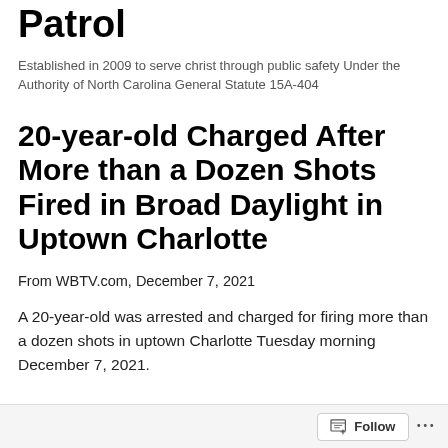Patrol
Established in 2009 to serve christ through public safety Under the Authority of North Carolina General Statute 15A-404
20-year-old Charged After More than a Dozen Shots Fired in Broad Daylight in Uptown Charlotte
From WBTV.com, December 7, 2021
A 20-year-old was arrested and charged for firing more than a dozen shots in uptown Charlotte Tuesday morning December 7, 2021.